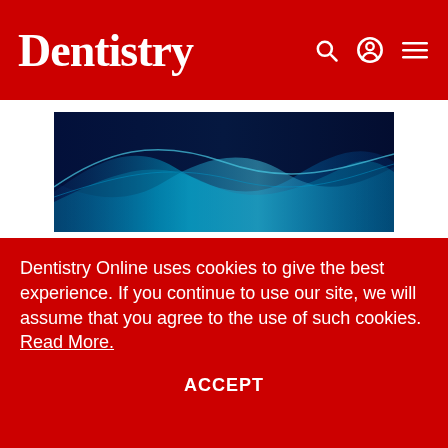Dentistry
[Figure (illustration): Abstract blue and teal wave pattern on dark background, banner image]
Oral Health
A healthy word – National Smile Month and behaviour
Dentistry Online uses cookies to give the best experience. If you continue to use our site, we will assume that you agree to the use of such cookies. Read More.
ACCEPT